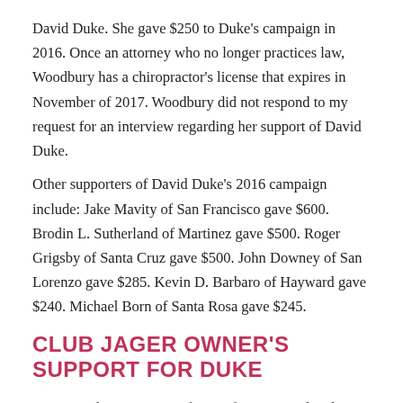David Duke. She gave $250 to Duke's campaign in 2016. Once an attorney who no longer practices law, Woodbury has a chiropractor's license that expires in November of 2017. Woodbury did not respond to my request for an interview regarding her support of David Duke.
Other supporters of David Duke's 2016 campaign include: Jake Mavity of San Francisco gave $600. Brodin L. Sutherland of Martinez gave $500. Roger Grigsby of Santa Cruz gave $500. John Downey of San Lorenzo gave $285. Kevin D. Barbaro of Hayward gave $240. Michael Born of Santa Rosa gave $245.
CLUB JAGER OWNER'S SUPPORT FOR DUKE
Exposing the supporters of KKK fascist David Duke may help to slow down the rise of fascism in the U.S. At the least, it will allow the public to decide if they want to give their money to those involved in supporting anti-Semitism, the Ku Klux Klan, bigots,